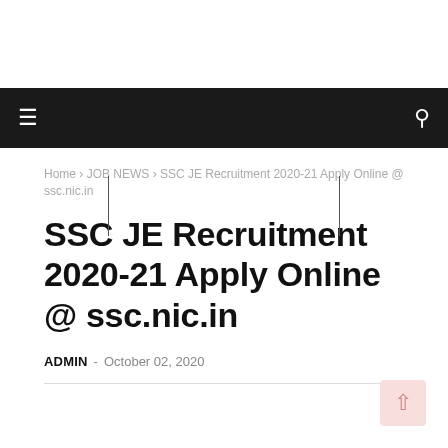≡  🔍 (navigation bar)
Home > JOB NEWS > SSC JE Recruitment 2020-21 Apply Online @ ssc.nic.in
SSC JE Recruitment 2020-21 Apply Online @ ssc.nic.in
ADMIN - October 02, 2020